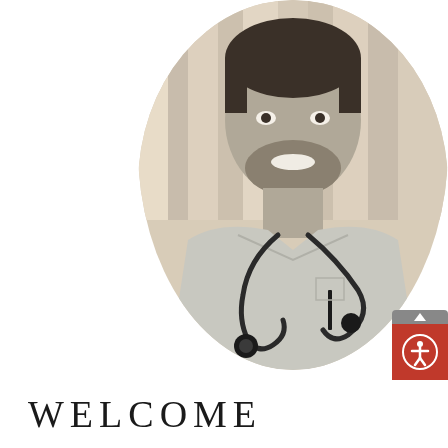[Figure (photo): Black and white portrait photo of a male medical professional smiling, wearing a light-colored button-up shirt with a stethoscope around his neck. The photo is cropped in an oval/rounded shape with a light curtained background.]
WELCOME